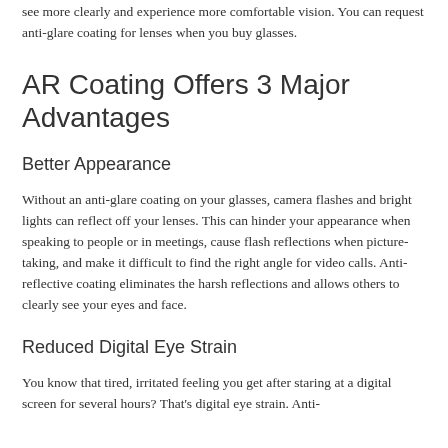see more clearly and experience more comfortable vision. You can request anti-glare coating for lenses when you buy glasses.
AR Coating Offers 3 Major Advantages
Better Appearance
Without an anti-glare coating on your glasses, camera flashes and bright lights can reflect off your lenses. This can hinder your appearance when speaking to people or in meetings, cause flash reflections when picture-taking, and make it difficult to find the right angle for video calls. Anti-reflective coating eliminates the harsh reflections and allows others to clearly see your eyes and face.
Reduced Digital Eye Strain
You know that tired, irritated feeling you get after staring at a digital screen for several hours? That's digital eye strain. Anti-